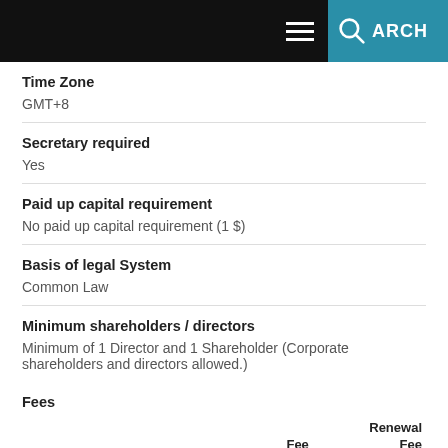SEARCH
Time Zone
GMT+8
Secretary required
Yes
Paid up capital requirement
No paid up capital requirement (1 $)
Basis of legal System
Common Law
Minimum shareholders / directors
Minimum of 1 Director and 1 Shareholder (Corporate shareholders and directors allowed.)
Fees
|  | Fee (USD/EUR) | Renewal Fee (USD/EUR) |
| --- | --- | --- |
| Hong Kong Company, basic |  |  |